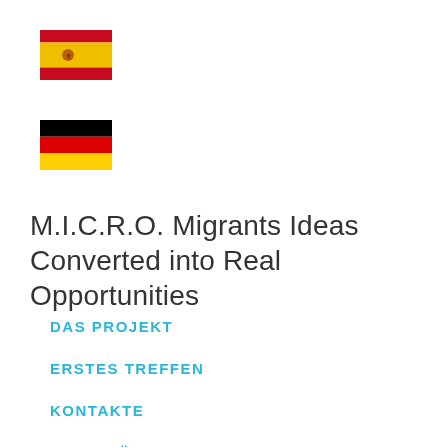[Figure (illustration): Spanish flag icon]
[Figure (illustration): German flag icon]
M.I.C.R.O. Migrants Ideas Converted into Real Opportunities
DAS PROJEKT
ERSTES TREFFEN
KONTAKTE
AKTIVITÄT
MATERIAL
ÜBERBLICK